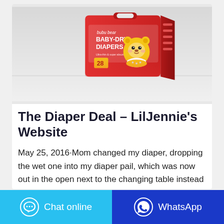[Figure (photo): Product photo of bubu bear BABY-DRY DIAPERS package, red box with a yellow cartoon bear character, count of 28, on a white/grey reflective surface]
The Diaper Deal – LilJennie's Website
May 25, 2016·Mom changed my diaper, dropping the wet one into my diaper pail, which was now out in the open next to the changing table instead of in
[Figure (other): Chat online button with speech bubble icon (cyan background)]
[Figure (other): WhatsApp button with WhatsApp logo (dark blue background)]